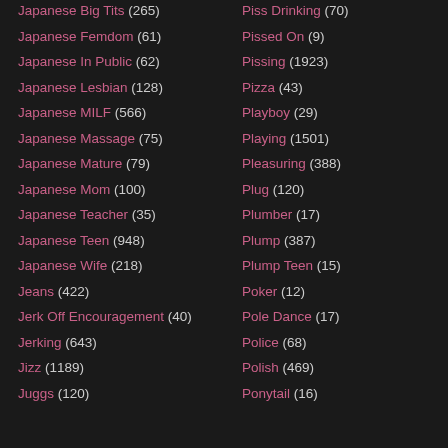Japanese Big Tits (265)
Japanese Femdom (61)
Japanese In Public (62)
Japanese Lesbian (128)
Japanese MILF (566)
Japanese Massage (75)
Japanese Mature (79)
Japanese Mom (100)
Japanese Teacher (35)
Japanese Teen (948)
Japanese Wife (218)
Jeans (422)
Jerk Off Encouragement (40)
Jerking (643)
Jizz (1189)
Juggs (120)
Piss Drinking (70)
Pissed On (9)
Pissing (1923)
Pizza (43)
Playboy (29)
Playing (1501)
Pleasuring (388)
Plug (120)
Plumber (17)
Plump (387)
Plump Teen (15)
Poker (12)
Pole Dance (17)
Police (68)
Polish (469)
Ponytail (16)